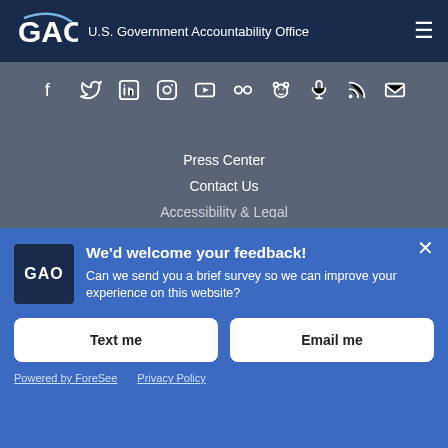GAO U.S. Government Accountability Office
[Figure (other): Social media icons row: Facebook, Twitter, LinkedIn, Instagram, YouTube, Flickr, GovDelivery, Podcast/microphone, RSS, Email]
Press Center
Contact Us
We'd welcome your feedback!
Can we send you a brief survey so we can improve your experience on this website?
Text me
Email me
Powered by ForeSee   Privacy Policy